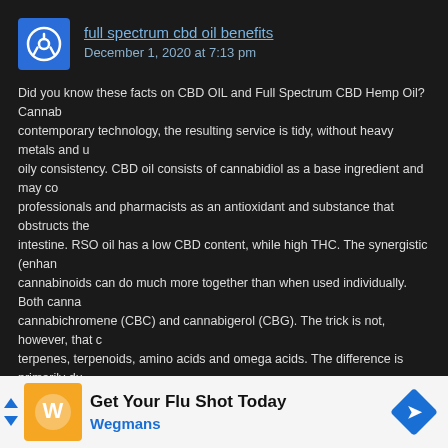full spectrum cbd oil benefits
December 1, 2020 at 7:13 pm
Did you know these facts on CBD OIL and Full Spectrum CBD Hemp Oil? Cannab… contemporary technology, the resulting service is tidy, without heavy metals and u… oily consistency. CBD oil consists of cannabidiol as a base ingredient and may co… professionals and pharmacists as an antioxidant and substance that obstructs the … intestine. RSO oil has a low CBD content, while high THC. The synergistic (enhan… cannabinoids can do much more together than when used individually. Both canna… cannabichromene (CBC) and cannabigerol (CBG). The trick is not, however, that … terpenes, terpenoids, amino acids and omega acids. The difference is primarily du… marijuana oil is a rather useful mix of cannabinoids, designed to safeguard agains… developed them and confined in marijuana inflorescences. Oil of marijuana in a ki… – Modern clinical research reveals that CBD + THC cope with severe autoimmune… compounds, simply like flavones, flavonoids or terpenes, therefore their content in… THC and CBD are derived include negligible quantities of other cannabinoids. Ca… is unknown, and started to discover what our forefathers had actually already noti… relationships, associated generally with pathology. Medical cannabis, contrary to i… psychoactive substances coiled in so-called "Joints", however an advantageous o… marijuana and achieving the appropriate state of cannabinoids in the blood, can e… minimized risk of stroke or heart attack. CBD oil consists of cannabidiol as a base … tetrahydroxycannabidiol (THC). RSO oil has a low CBD material, while high THC. … cannabichromene (CBC) and cannabigerol (CBG). CBD me… juana oil is a… century di… Oil for di… kind for … CBD inclu… mall quantities
[Figure (infographic): Advertisement banner: Get Your Flu Shot Today - Wegmans, with orange logo and blue diamond road sign icon. Close X button overlay.]